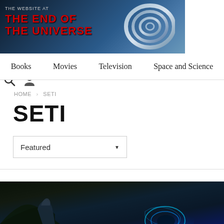[Figure (screenshot): Website header banner for 'The Website at The End of the Universe' with dark sci-fi imagery and metallic rings on right side. Search and user icons on white background to the right.]
Books  Movies  Television  Space and Science
HOME > SETI
SETI
Featured
[Figure (photo): Dark fantasy/sci-fi scene showing armored figure with glowing blue swirling energy portal in background, dark forest setting.]